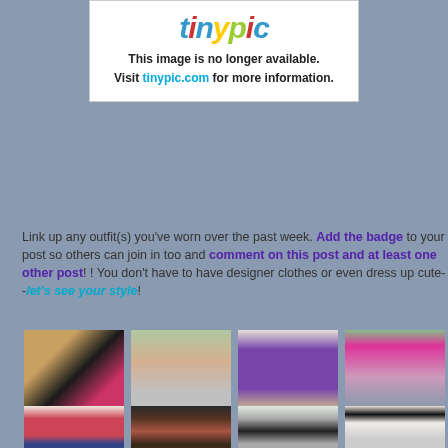[Figure (screenshot): TinyPic placeholder image with logo and message: This image is no longer available. Visit tinypic.com for more information.]
Link up any outfit(s) you've worn over the past week. Add the badge to your post so others can join in too and comment on this post and at least one other post! ! You don't have to have designer clothes or even dress up cute--let's see your style!
[Figure (photo): 1. (Mostly) Yummy Mummy - close up of fabric/clothing]
[Figure (photo): 2. Mica @ Away From Blue - woman in floral top and shorts]
[Figure (photo): 3. Franglaise Mummy - woman in purple dress]
[Figure (photo): 4. Blazin... Pri... - woman in pink blazer]
[Figure (photo): 5. woman in red top]
[Figure (photo): 6. woman near fireplace]
[Figure (photo): 7. woman in grey cardigan]
[Figure (photo): 8. woman in black and white]